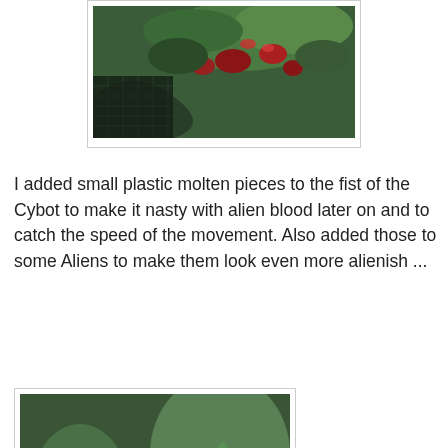[Figure (photo): Close-up photo of miniature wargaming figures with red and green alien/sci-fi theme, viewed from above on a cutting mat.]
I added small plastic molten pieces to the fist of the Cybot to make it nasty with alien blood later on and to catch the speed of the movement. Also added those to some Aliens to make them look even more alienish ...
[Figure (photo): Close-up photo of a dark armored Cybot miniature figure with red cross marking, surrounded by alien/mechanical elements in green and dark tones.]